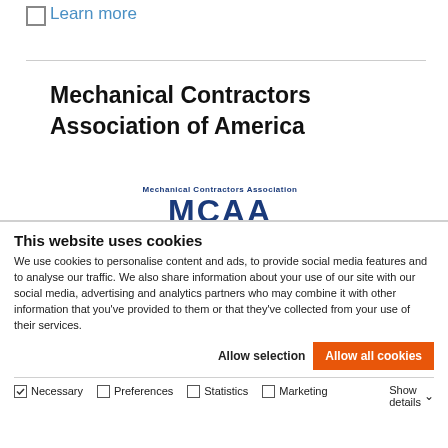Learn more
Mechanical Contractors Association of America
[Figure (logo): Mechanical Contractors Association (MCAA) logo with small text and large blue letters]
This website uses cookies
We use cookies to personalise content and ads, to provide social media features and to analyse our traffic. We also share information about your use of our site with our social media, advertising and analytics partners who may combine it with other information that you've provided to them or that they've collected from your use of their services.
Allow selection   Allow all cookies
Necessary   Preferences   Statistics   Marketing   Show details